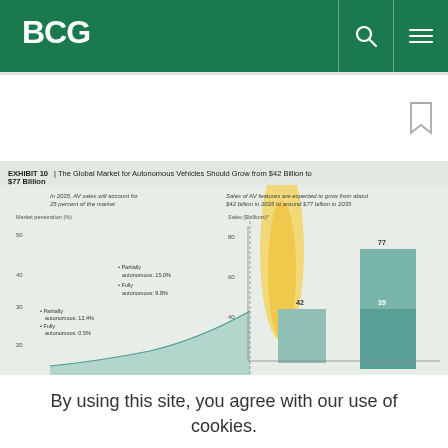BCG
[Figure (screenshot): Partially visible BCG exhibit showing two charts: left chart is an area/line chart of Market penetration (%) for autonomous vehicles with labels 'Partially autonomous: 12.4%', 'Fully autonomous: 0.5%' around 2025 and 'Partially autonomous: 15.0%', 'Fully autonomous: 9.8%' around 2035; right chart is a stacked bar chart showing Sales ($billions) with values 42 in 2025 and 77 in 2035, with segment value 39. Title: EXHIBIT 10 | The Global Market for Autonomous Vehicles Should Grow from $42 Billion to $77 Billion]
By using this site, you agree with our use of cookies.
I consent to cookies
Want to know more?
Read our Cookie Policy